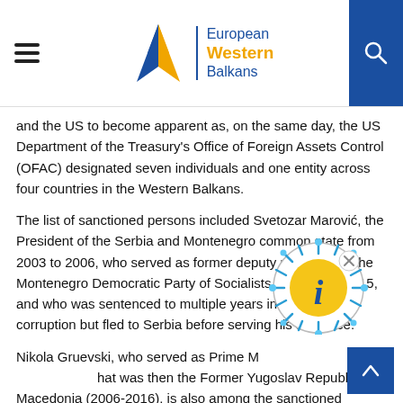European Western Balkans
and the US to become apparent as, on the same day, the US Department of the Treasury's Office of Foreign Assets Control (OFAC) designated seven individuals and one entity across four countries in the Western Balkans.
The list of sanctioned persons included Svetozar Marović, the President of the Serbia and Montenegro common state from 2003 to 2006, who served as former deputy president of the Montenegro Democratic Party of Socialists (DPS) until 2015, and who was sentenced to multiple years in prison for corruption but fled to Serbia before serving his sentence.
Nikola Gruevski, who served as Prime Minister of what was then the Former Yugoslav Republic of Macedonia (2006-2016), is also among the sanctioned persons.
[Figure (other): Info popup icon — a yellow circle with a blue 'i' and radiating spikes like a coronavirus, with an X close button]